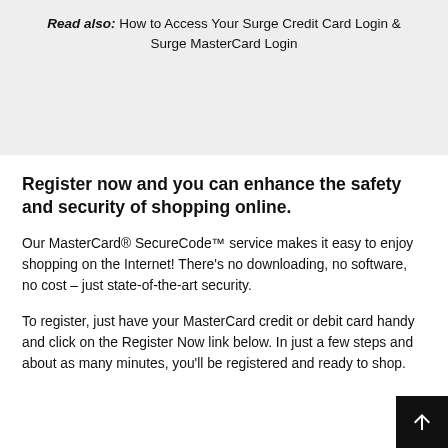Read also: How to Access Your Surge Credit Card Login & Surge MasterCard Login
Register now and you can enhance the safety and security of shopping online.
Our MasterCard® SecureCode™ service makes it easy to enjoy shopping on the Internet! There's no downloading, no software, no cost – just state-of-the-art security.
To register, just have your MasterCard credit or debit card handy and click on the Register Now link below. In just a few steps and about as many minutes, you'll be registered and ready to shop.